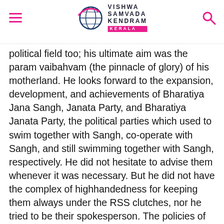Vishwa Samvada Kendram Kerala
political field too; his ultimate aim was the param vaibahvam (the pinnacle of glory) of his motherland. He looks forward to the expansion, development, and achievements of Bharatiya Jana Sangh, Janata Party, and Bharatiya Janata Party, the political parties which used to swim together with Sangh, co-operate with Sangh, and still swimming together with Sangh, respectively. He did not hesitate to advise them whenever it was necessary. But he did not have the complex of highhandedness for keeping them always under the RSS clutches, nor he tried to be their spokesperson. The policies of the political party led by Sangh swayamsevaks did not prevent him from airing his views of national or social significance. When the Janata Party Government,